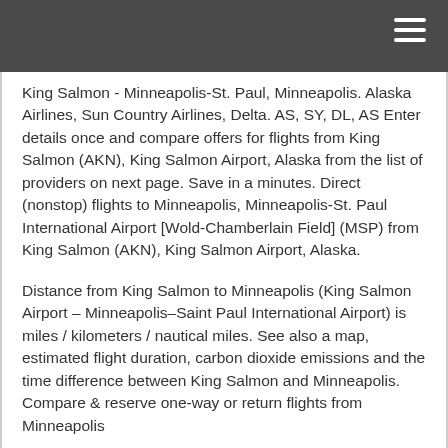King Salmon - Minneapolis-St. Paul, Minneapolis. Alaska Airlines, Sun Country Airlines, Delta. AS, SY, DL, AS Enter details once and compare offers for flights from King Salmon (AKN), King Salmon Airport, Alaska from the list of providers on next page. Save in a minutes. Direct (nonstop) flights to Minneapolis, Minneapolis-St. Paul International Airport [Wold-Chamberlain Field] (MSP) from King Salmon (AKN), King Salmon Airport, Alaska.
Distance from King Salmon to Minneapolis (King Salmon Airport – Minneapolis–Saint Paul International Airport) is miles / kilometers / nautical miles. See also a map, estimated flight duration, carbon dioxide emissions and the time difference between King Salmon and Minneapolis. Compare & reserve one-way or return flights from Minneapolis